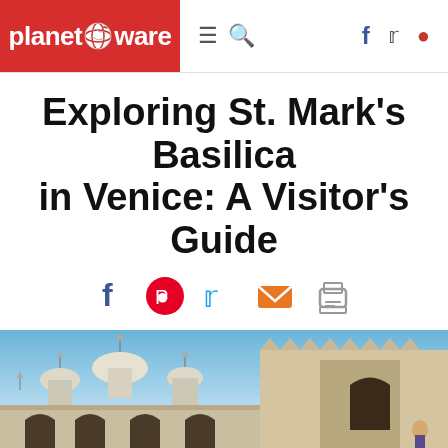planetware
Exploring St. Mark's Basilica in Venice: A Visitor's Guide
Written by Barbara Radcliffe Rogers
Updated Feb 15, 2022
We may earn a commission from affiliate links (↗)
[Figure (photo): Photo of St. Mark's Basilica in Venice showing ornate domes and Gothic architectural details against a blue sky]